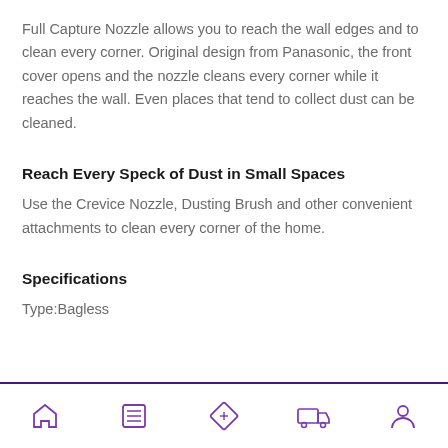Full Capture Nozzle allows you to reach the wall edges and to clean every corner. Original design from Panasonic, the front cover opens and the nozzle cleans every corner while it reaches the wall. Even places that tend to collect dust can be cleaned.
Reach Every Speck of Dust in Small Spaces
Use the Crevice Nozzle, Dusting Brush and other convenient attachments to clean every corner of the home.
Specifications
Type:Bagless
Navigation bar with icons: home, list, ticket/label, delivery, person